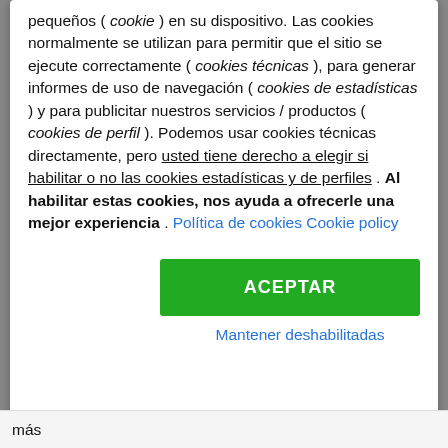pequeños ( cookie ) en su dispositivo. Las cookies normalmente se utilizan para permitir que el sitio se ejecute correctamente ( cookies técnicas ), para generar informes de uso de navegación ( cookies de estadísticas ) y para publicitar nuestros servicios / productos ( cookies de perfil ). Podemos usar cookies técnicas directamente, pero usted tiene derecho a elegir si habilitar o no las cookies estadísticas y de perfiles . Al habilitar estas cookies, nos ayuda a ofrecerle una mejor experiencia . Política de cookies Cookie policy
ACEPTAR
Mantener deshabilitadas
más